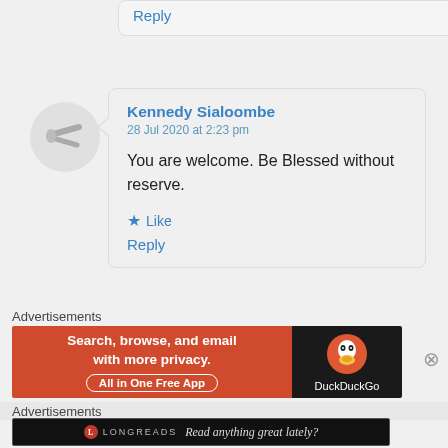Reply
[Figure (illustration): User avatar circle with pencil/pen icon]
Kennedy Sialoombe
28 Jul 2020 at 2:23 pm

You are welcome. Be Blessed without reserve.

★ Like

Reply
Advertisements
[Figure (screenshot): DuckDuckGo advertisement banner: 'Search, browse, and email with more privacy. All in One Free App' with DuckDuckGo logo on dark background]
Advertisements
[Figure (screenshot): Longreads advertisement banner on black background: 'Read anything great lately?']